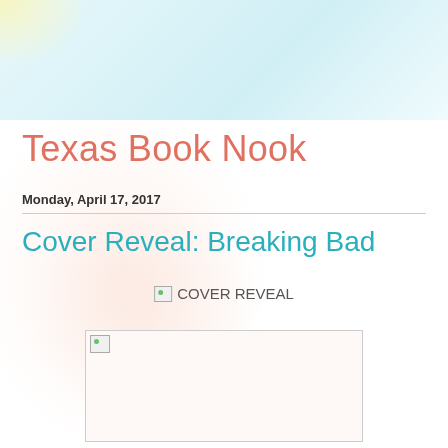Texas Book Nook
Monday, April 17, 2017
Cover Reveal: Breaking Bad
[Figure (illustration): Broken image placeholder with text 'COVER REVEAL']
[Figure (illustration): Broken image placeholder for book cover, shown inside a bordered rectangle]